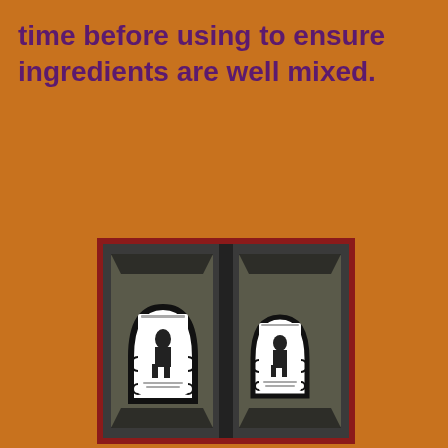time before using to ensure ingredients are well mixed.
[Figure (photo): Two soap bars in black packaging with decorative black and white swirl labels showing a vintage woman figure, placed side by side in dark trays, viewed from above, with a dark red/maroon border frame around the photo.]